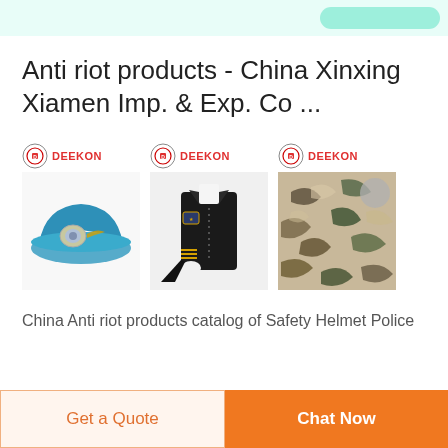Anti riot products - China Xinxing Xiamen Imp. & Exp. Co ...
[Figure (photo): Three product images each with DEEKON logo: a blue beret with badge, a formal military/police uniform jacket, and camouflage fabric]
China Anti riot products catalog of Safety Helmet Police
Get a Quote
Chat Now